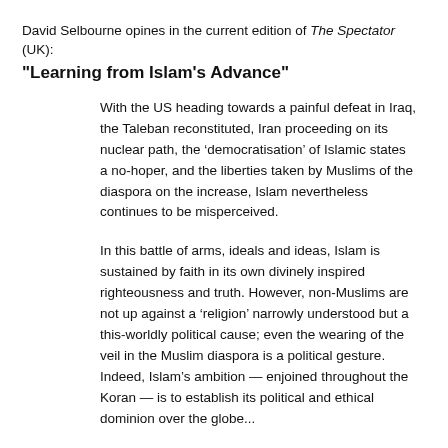David Selbourne opines in the current edition of The Spectator (UK):
"Learning from Islam's Advance"
With the US heading towards a painful defeat in Iraq, the Taleban reconstituted, Iran proceeding on its nuclear path, the ‘democratisation’ of Islamic states a no-hoper, and the liberties taken by Muslims of the diaspora on the increase, Islam nevertheless continues to be misperceived.
In this battle of arms, ideals and ideas, Islam is sustained by faith in its own divinely inspired righteousness and truth. However, non-Muslims are not up against a ‘religion’ narrowly understood but a this-worldly political cause; even the wearing of the veil in the Muslim diaspora is a political gesture. Indeed, Islam’s ambition — enjoined throughout the Koran — is to establish its political and ethical dominion over the globe...
But Islam’s swift progress is easily explained. For the West - but not China or India - is as politically and ideologically weak as the world of Islam is strong. The